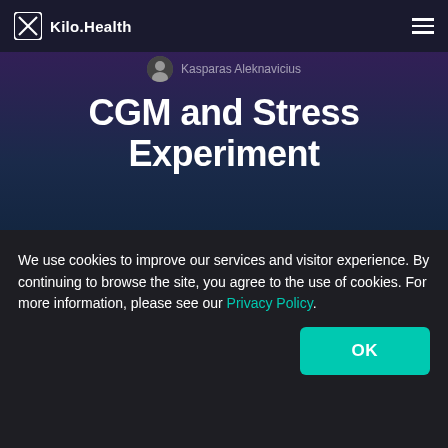Kilo.Health
Kasparas Aleknavicius
CGM and Stress Experiment
Dec 8  Insights
[Figure (photo): Photo strip showing interior room/door scene]
We use cookies to improve our services and visitor experience. By continuing to browse the site, you agree to the use of cookies. For more information, please see our Privacy Policy.
OK